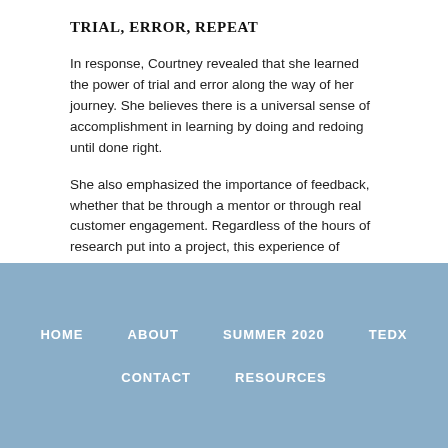TRIAL, ERROR, REPEAT
In response, Courtney revealed that she learned the power of trial and error along the way of her journey. She believes there is a universal sense of accomplishment in learning by doing and redoing until done right.
She also emphasized the importance of feedback, whether that be through a mentor or through real customer engagement. Regardless of the hours of research put into a project, this experience of interaction and
HOME   ABOUT   SUMMER 2020   TEDX   CONTACT   RESOURCES